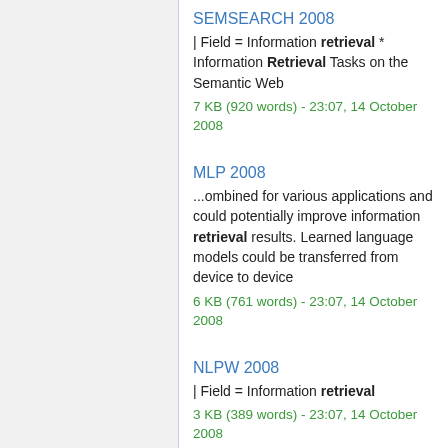SEMSEARCH 2008
| Field = Information retrieval * Information Retrieval Tasks on the Semantic Web
7 KB (920 words) - 23:07, 14 October 2008
MLP 2008
...ombined for various applications and could potentially improve information retrieval results. Learned language models could be transferred from device to device
6 KB (761 words) - 23:07, 14 October 2008
NLPW 2008
| Field = Information retrieval
3 KB (389 words) - 23:07, 14 October 2008